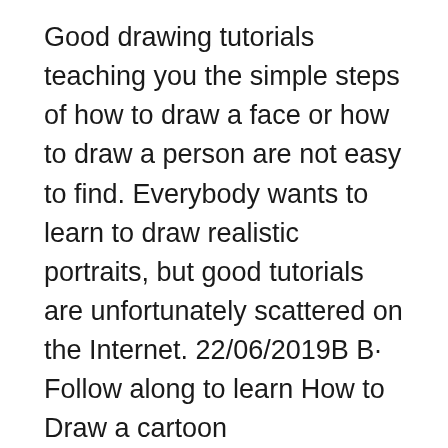Good drawing tutorials teaching you the simple steps of how to draw a face or how to draw a person are not easy to find. Everybody wants to learn to draw realistic portraits, but good tutorials are unfortunately scattered on the Internet. 22/06/2019В В· Follow along to learn How to Draw a cartoon Tyrannosaurus Rex Dinosaur easy, step by step art tutorial. Cute Dino drawing. Jurassic. пёЦ SUPPLIES You Might Lo...
Easy Drawing Tutorials for Beginners Play all Good drawing tutorials for beginners, kids, or someone who just wants to draw something quick! Watch to see how each character is drawn step by step, and pause the video to draw at